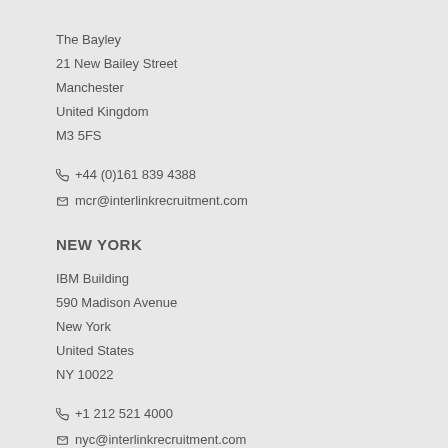The Bayley
21 New Bailey Street
Manchester
United Kingdom
M3 5FS
+44 (0)161 839 4388
mcr@interlinkrecruitment.com
NEW YORK
IBM Building
590 Madison Avenue
New York
United States
NY 10022
+1 212 521 4000
nyc@interlinkrecruitment.com
BERLIN